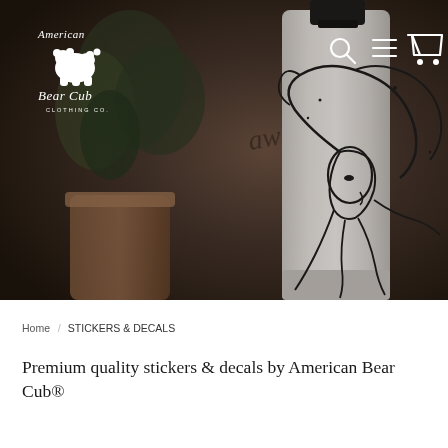[Figure (photo): Hero banner photo showing a white tumbler/water bottle with a woman's face sticker/decal design featuring flowing hair, on a dark warm-toned background with a blurred plant in the background. American Bear Cub Clothing Co. logo in top left, navigation icons (search, menu, cart) in top right.]
Home / STICKERS & DECALS
Premium quality stickers & decals by American Bear Cub®